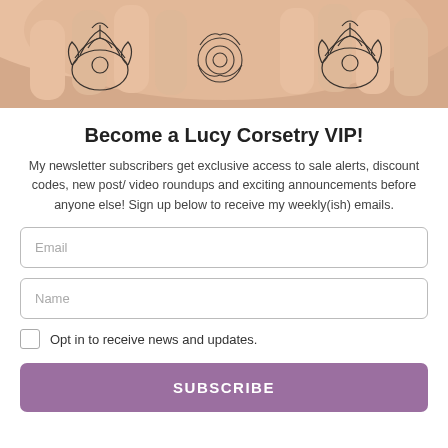[Figure (photo): Close-up photo of hands with tattoos (floral/butterfly designs on fingers and back of hand)]
Become a Lucy Corsetry VIP!
My newsletter subscribers get exclusive access to sale alerts, discount codes, new post/ video roundups and exciting announcements before anyone else! Sign up below to receive my weekly(ish) emails.
Email
Name
Opt in to receive news and updates.
SUBSCRIBE